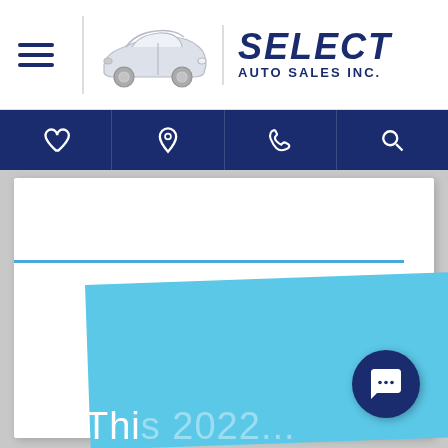[Figure (logo): Select Auto Sales Inc. logo with car illustration and bold italic text]
[Figure (screenshot): Website navigation bar with heart (favorites), location pin, phone, and search icons on dark blue background]
[Figure (screenshot): Website body showing white card with blue accent stripe, light blue promotional panel at an angle, chat button, and partial white text reading 'Thi... 2022...' at bottom]